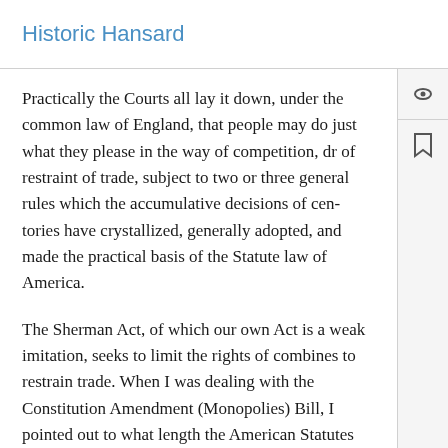Historic Hansard
Practically the Courts all lay it down, under the common law of England, that people may do just what they please in the way of competition, dr of restraint of trade, subject to two or three general rules which the accumulative decisions of cen- tories have crystallized, generally adopted, and made the practical basis of the Statute law of America.
The Sherman Act, of which our own Act is a weak imitation, seeks to limit the rights of combines to restrain trade. When I was dealing with the Constitution Amendment (Monopolies) Bill, I pointed out to what length the American Statutes went; and I shall say no more on that aspect before I deal with the judgment in which the whole of the cases which settle the law in America are reviewed. The American Statutes practically say that all restraint of trade, whether reasonable or unreasonable, with or without intent to restrain trade, whether to the detriment or to the benefit of the public, is illegal and an offence. It is no